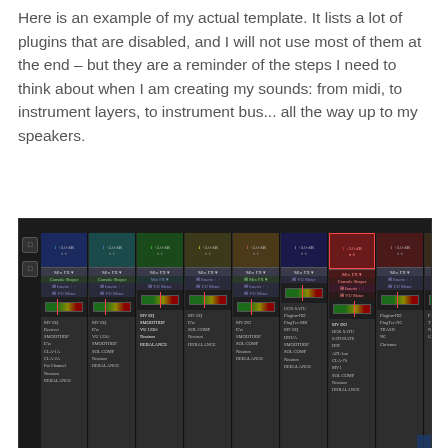Here is an example of my actual template. It lists a lot of plugins that are disabled, and I will not use most of them at the end – but they are a reminder of the steps I need to think about when I am creating my sounds: from midi, to instrument layers, to instrument bus... all the way up to my speakers.
[Figure (screenshot): A DAW (Digital Audio Workstation) mixer screenshot showing multiple channels with plugins listed, including Console Shaper, Inserts, VU Meter, MV EQ, SMOOTHOP, SATURATES, Plugins HD, FILTER, TRASH, SOL COMP, and other processing plugins across various color-coded channel strips.]